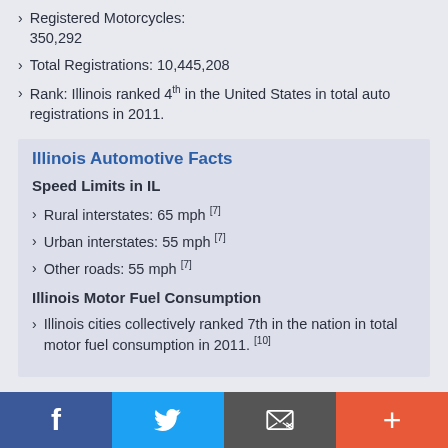Registered Motorcycles: 350,292
Total Registrations: 10,445,208
Rank: Illinois ranked 4th in the United States in total auto registrations in 2011.
Illinois Automotive Facts
Speed Limits in IL
Rural interstates: 65 mph [7]
Urban interstates: 55 mph [7]
Other roads: 55 mph [7]
Illinois Motor Fuel Consumption
Illinois cities collectively ranked 7th in the nation in total motor fuel consumption in 2011. [10]
Social sharing bar: Facebook, Twitter, Email, More